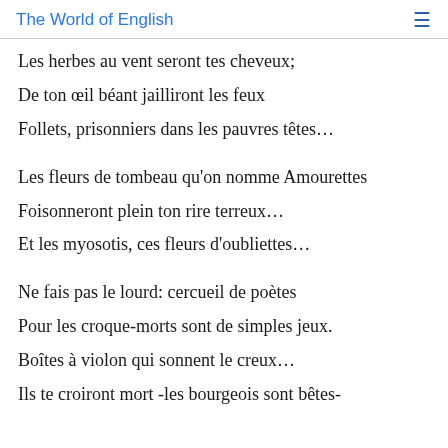The World of English
Les herbes au vent seront tes cheveux;
De ton œil béant jailliront les feux
Follets, prisonniers dans les pauvres têtes…
Les fleurs de tombeau qu'on nomme Amourettes
Foisonneront plein ton rire terreux…
Et les myosotis, ces fleurs d'oubliettes…
Ne fais pas le lourd: cercueil de poètes
Pour les croque-morts sont de simples jeux.
Boîtes à violon qui sonnent le creux…
Ils te croiront mort -les bourgeois sont bêtes-